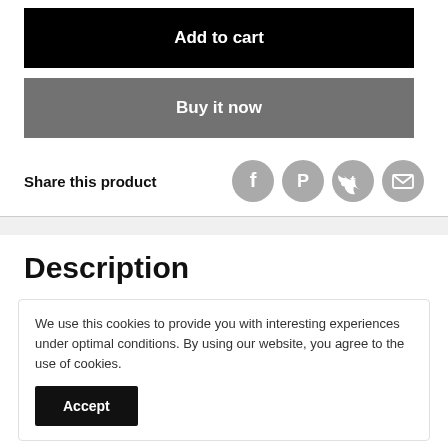Add to cart
Buy it now
Share this product
Description
We use this cookies to provide you with interesting experiences under optimal conditions. By using our website, you agree to the use of cookies.
Accept
you could just take the battery, plug it into a wall charger, and leave